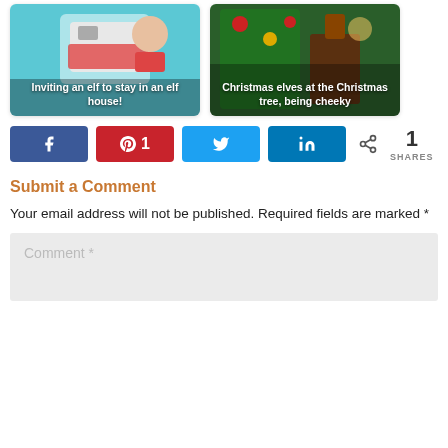[Figure (photo): Photo of elf toys near a camper/house with Christmas decorations, overlay text: Inviting an elf to stay in an elf house!]
[Figure (photo): Photo of Christmas elves at a Christmas tree, overlay text: Christmas elves at the Christmas tree, being cheeky]
Facebook share button, Pinterest 1 share button, Twitter share button, LinkedIn share button, 1 SHARES
Submit a Comment
Your email address will not be published. Required fields are marked *
Comment *